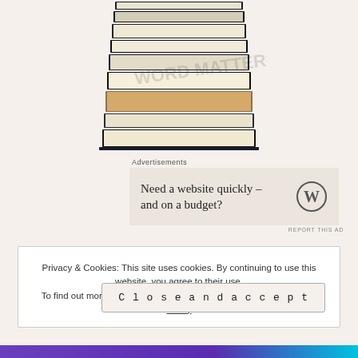[Figure (photo): Stack of books photographed from the side, showing multiple books piled on top of each other, with a faint watermark text visible on the image. Books have white/cream and dark navy spines.]
Advertisements
[Figure (other): Advertisement banner with light beige background reading 'Need a website quickly – and on a budget?' with WordPress logo (W in a circle) on the right side. Small 'REPORT THIS AD' text in bottom right corner.]
Privacy & Cookies: This site uses cookies. By continuing to use this website, you agree to their use.
To find out more, including how to control cookies, see here: Cookie Policy
Close and accept